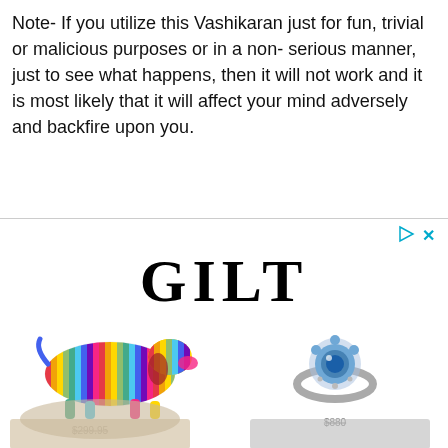Note- If you utilize this Vashikaran just for fun, trivial or malicious purposes or in a non- serious manner, just to see what happens, then it will not work and it is most likely that it will affect your mind adversely and backfire upon you.
[Figure (advertisement): Gilt luxury shopping advertisement showing the GILT logo in large serif font, a colorful striped dachshund figurine with strikethrough price $299.95, a sapphire diamond ring with strikethrough price $880, and partial images of shoes and another product at bottom. Play and X icons in top-right corner.]